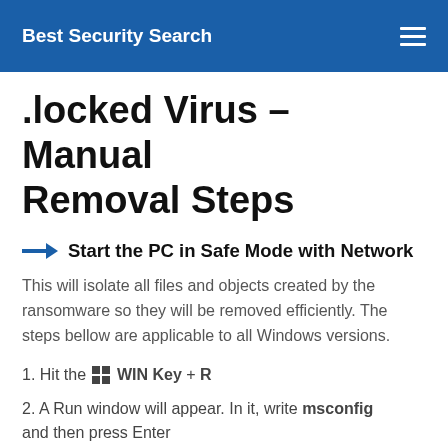Best Security Search
.locked Virus – Manual Removal Steps
Start the PC in Safe Mode with Network
This will isolate all files and objects created by the ransomware so they will be removed efficiently. The steps bellow are applicable to all Windows versions.
1. Hit the WIN Key + R
2. A Run window will appear. In it, write msconfig and then press Enter
3. A Configuration box shall appear. In it Choose the